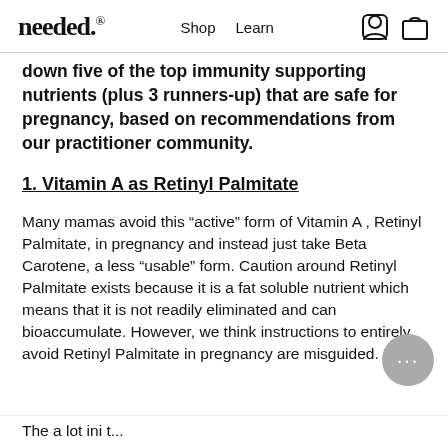needed. Shop Learn
down five of the top immunity supporting nutrients (plus 3 runners-up) that are safe for pregnancy, based on recommendations from our practitioner community.
1. Vitamin A as Retinyl Palmitate
Many mamas avoid this “active” form of Vitamin A , Retinyl Palmitate, in pregnancy and instead just take Beta Carotene, a less “usable” form. Caution around Retinyl Palmitate exists because it is a fat soluble nutrient which means that it is not readily eliminated and can bioaccumulate. However, we think instructions to entirely avoid Retinyl Palmitate in pregnancy are misguided. Here
The a lot ini t...